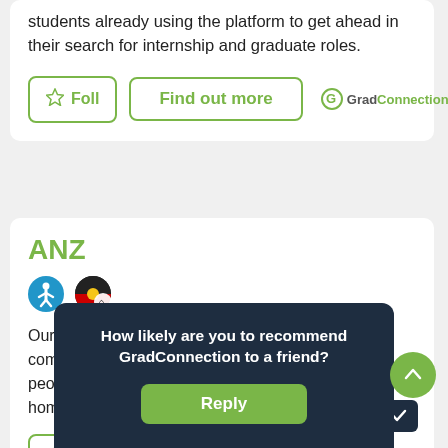students already using the platform to get ahead in their search for internship and graduate roles.
[Figure (screenshot): Follow button (star icon + Foll text), Find out more button, and GradConnection logo]
ANZ
[Figure (illustration): Accessibility icon (blue circle with person) and Indigenous flag icon]
Our purpose is to shape a world where people and communities thrive. Our people are proud to help people achieve incredible things – be it buying their home, building...
[Figure (screenshot): Follow button with star icon (partially visible)]
How likely are you to recommend GradConnection to a friend?
[Figure (screenshot): Reply button in modal popup]